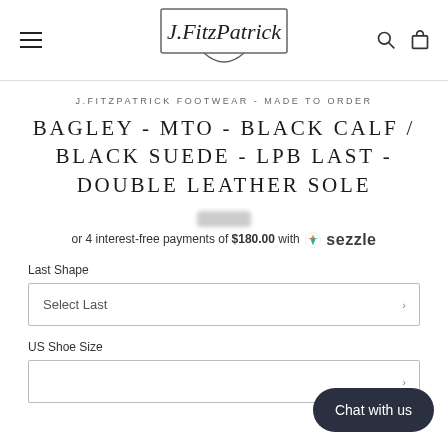J.FitzPatrick (logo)
J.FITZPATRICK FOOTWEAR - MADE TO ORDER
BAGLEY - MTO - BLACK CALF / BLACK SUEDE - LPB LAST - DOUBLE LEATHER SOLE
or 4 interest-free payments of $180.00 with ◉ sezzle
Last Shape
Select Last
US Shoe Size
Chat with us